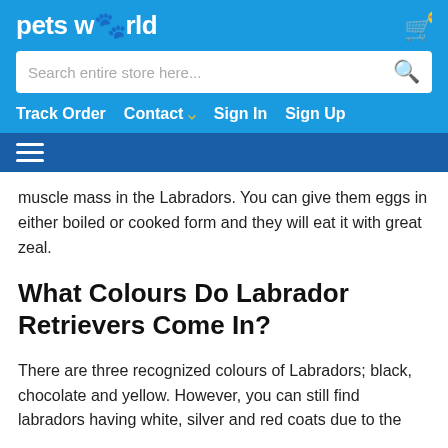petsworld
muscle mass in the Labradors. You can give them eggs in either boiled or cooked form and they will eat it with great zeal.
What Colours Do Labrador Retrievers Come In?
There are three recognized colours of Labradors; black, chocolate and yellow. However, you can still find labradors having white, silver and red coats due to the